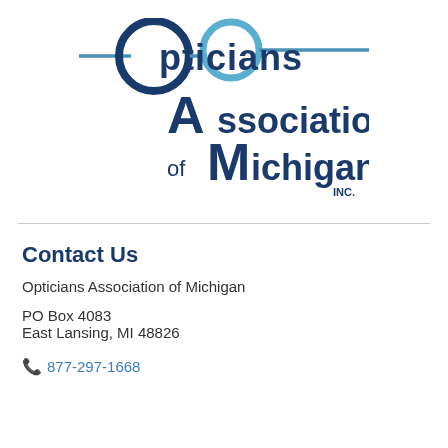[Figure (logo): Opticians Association of Michigan INC. logo with stylized eyeglasses and large letters O, A, M in dark navy blue and light blue.]
Contact Us
Opticians Association of Michigan
PO Box 4083
East Lansing, MI 48826
877-297-1668